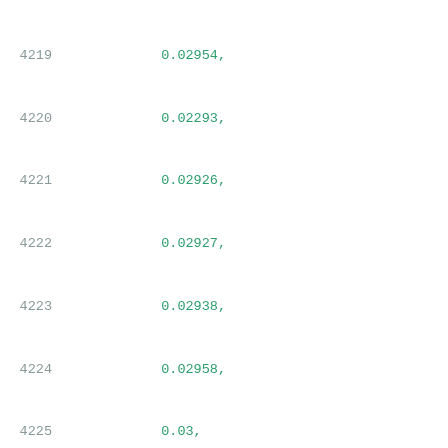Code listing lines 4219-4240 showing JSON data with numeric array values and rise_power hidden_pwr_template13 key